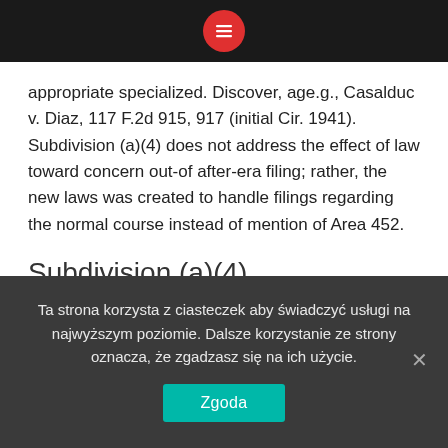[Menu icon in top black bar]
appropriate specialized. Discover, age.g., Casalduc v. Diaz, 117 F.2d 915, 917 (initial Cir. 1941). Subdivision (a)(4) does not address the effect of law toward concern out-of after-era filing; rather, the new laws was created to handle filings regarding the normal course instead of mention of Area 452.
Subdivision (a)(4)
Subdivision (a)(4)(C) addresses filings because of the send not as much as Statutes twenty-five(a)(2)(B)(i) and you will thirteen(b), filings from the 3rd-party
Ta strona korzysta z ciasteczek aby świadczyć usługi na najwyższym poziomie. Dalsze korzystanie ze strony oznacza, że zgadzasz się na ich użycie.